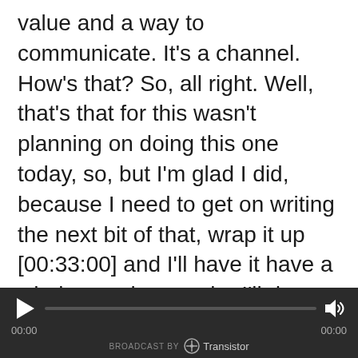value and a way to communicate. It's a channel. How's that? So, all right. Well, that's that for this wasn't planning on doing this one today, so, but I'm glad I did, because I need to get on writing the next bit of that, wrap it up [00:33:00] and I'll have it have a whole, maybe, maybe I'll do a workshop for the branding.

If that sounds like something you might want to get into or might want to hear more about, let me know. As I said, I've been doing branding and create creative projects for them, much of my life in some way or another. So I'm familiar
[Figure (other): Audio player bar with play button, progress bar, volume icon, time display (00:00 / 00:00), and 'BROADCAST BY Transistor' branding on dark background.]